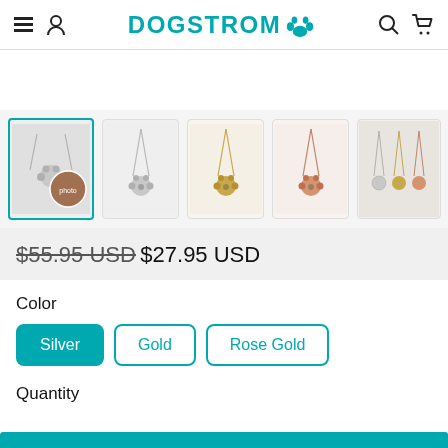DOGSTROM — navigation header with menu, user, search, cart icons
[Figure (photo): Product thumbnail images of paw necklaces in silver, gold, and rose gold variants. First thumbnail selected with teal border.]
$55.95 USD $27.95 USD
Color
Silver | Gold | Rose Gold
Quantity